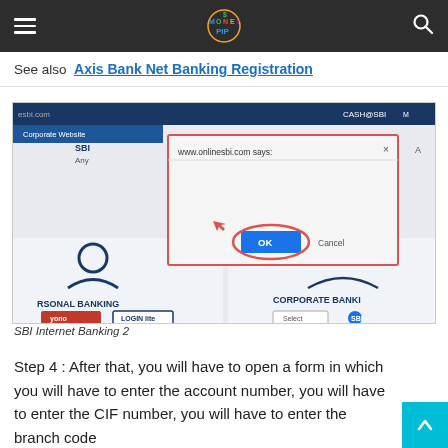MoneyPip navigation bar with logo, hamburger menu, and search icon
See also  Axis Bank Net Banking Registration
[Figure (screenshot): Screenshot of onlinesbi.com showing a browser dialog box from www.onlinesbi.com saying: 'If you have already obtained Pre-Printed Kit from the branch for activating INB facility, please don't proceed with this link. You can input userid and password given in PPK on normal login screen.' with OK and Cancel buttons. The page behind shows SBI Personal Banking and Corporate Banking sections with YONO and LOGIN lite buttons.]
SBI Internet Banking 2
Step 4 : After that, you will have to open a form in which you will have to enter the account number, you will have to enter the CIF number, you will have to enter the branch code